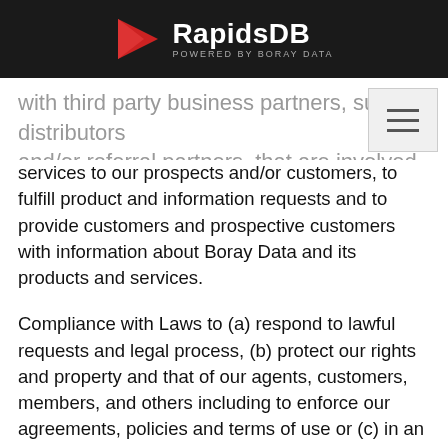RapidsDB — POWERED BY BORAY DATA
with third party business partners, such as distributors and/or referral partners, that are involved in providing services to our prospects and/or customers, to fulfill product and information requests and to provide customers and prospective customers with information about Boray Data and its products and services.
Compliance with Laws to (a) respond to lawful requests and legal process, (b) protect our rights and property and that of our agents, customers, members, and others including to enforce our agreements, policies and terms of use or (c) in an emergency to protect the personal safety of any person.
Business Transfers. Boray Data may share or transfer your information in connection with, or during negotiations of, any merger, sale of company assets, financing, or acquisition of all or a portion of our business to another company.